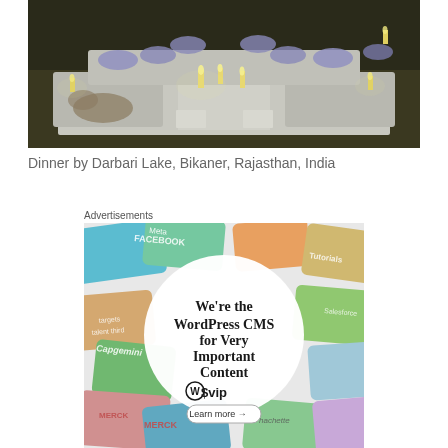[Figure (photo): Outdoor dinner setup by Darbari Lake at night with white cushioned seating arranged in a square, lit candles on white cube tables, blue/purple throw pillows, dark atmospheric background]
Dinner by Darbari Lake, Bikaner, Rajasthan, India
Advertisements
[Figure (screenshot): WordPress VIP advertisement showing colorful brand cards (Meta, Facebook, Merck, Capgemini, hachette, Salesforce, etc.) arranged around a central white circle with text: We're the WordPress CMS for Very Important Content, WordPress VIP logo, and Learn more arrow button]